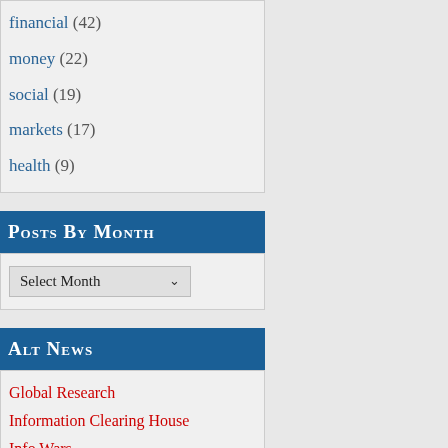financial (42)
money (22)
social (19)
markets (17)
health (9)
Posts By Month
Select Month
Alt News
Global Research
Information Clearing House
Info Wars
Paul Craig Roberts
New Eastern Outlook (NEO)